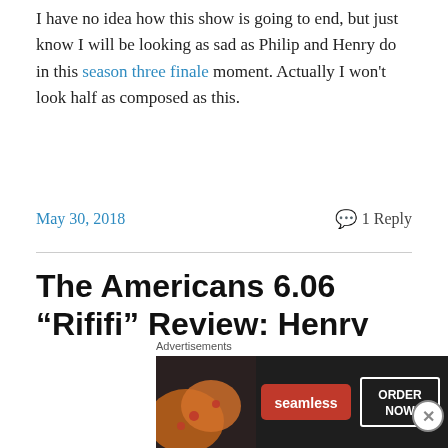I have no idea how this show is going to end, but just know I will be looking as sad as Philip and Henry do in this season three finale moment. Actually I won't look half as composed as this.
May 30, 2018    💬 1 Reply
The Americans 6.06 “Rififi” Review: Henry Jennings, Marriage Counselor
It has all been building to this. Those operations that
Advertisements
[Figure (other): Seamless food delivery advertisement banner with pizza image, Seamless red logo, and ORDER NOW button on dark background]